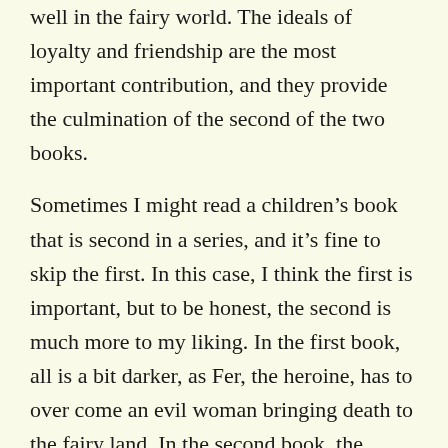well in the fairy world. The ideals of loyalty and friendship are the most important contribution, and they provide the culmination of the second of the two books.
Sometimes I might read a children’s book that is second in a series, and it’s fine to skip the first. In this case, I think the first is important, but to be honest, the second is much more to my liking. In the first book, all is a bit darker, as Fer, the heroine, has to over come an evil woman bringing death to the fairy land. In the second book, the heroine overcomes the bad guy by the use of her own goodness. It’s much more triumphant and satisfying to read them both.
The fairy worlds are filled with all kinds of interesting